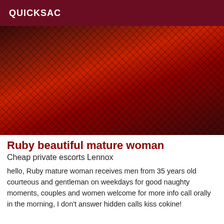QUICKSAC
[Figure (photo): Photo of a person wearing fishnet stockings on a red background]
Ruby beautiful mature woman
Cheap private escorts Lennox
hello, Ruby mature woman receives men from 35 years old courteous and gentleman on weekdays for good naughty moments, couples and women welcome for more info call orally in the morning, I don't answer hidden calls kiss cokine!